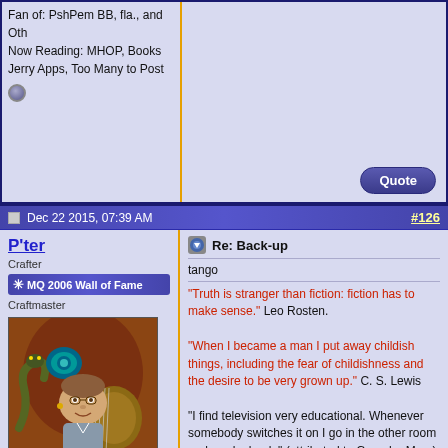Fan of: PshPem BB, fla., and Oth
Now Reading: MHOP, Books Jerry Apps, Too Many to Post
Dec 22 2015, 07:39 AM
#126
P'ter
Crafter
✳ MQ 2006 Wall of Fame
Craftmaster
[Figure (photo): Avatar image of a man playing guitar, illustrated style]
Join Date: May 2006
Location: Wolverhampton
Pronouns: He/him
Fan of: Favorite?
Now Reading: avidly
Re: Back-up
tango
"Truth is stranger than fiction: fiction has to make sense." Leo Rosten.
"When I became a man I put away childish things, including the fear of childishness and the desire to be very grown up." C. S. Lewis
"I find television very educational. Whenever somebody switches it on I go in the other room and read a book." (attributed to Groucho Marx)